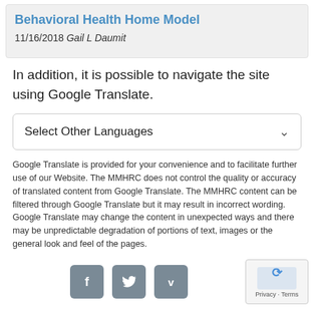Behavioral Health Home Model
11/16/2018 Gail L Daumit
In addition, it is possible to navigate the site using Google Translate.
Select Other Languages
Google Translate is provided for your convenience and to facilitate further use of our Website. The MMHRC does not control the quality or accuracy of translated content from Google Translate. The MMHRC content can be filtered through Google Translate but it may result in incorrect wording. Google Translate may change the content in unexpected ways and there may be unpredictable degradation of portions of text, images or the general look and feel of the pages.
[Figure (other): Social media icons: Facebook, Twitter, Vimeo buttons in grey rounded squares, and a reCAPTCHA widget in the bottom right corner]